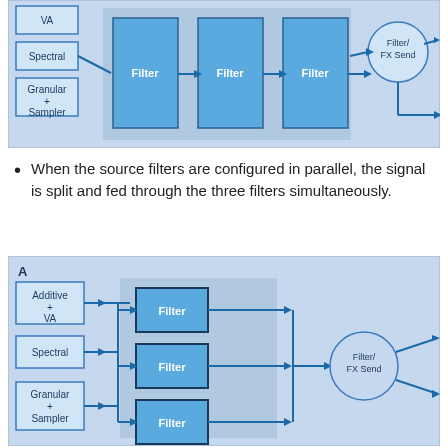[Figure (engineering-diagram): Block diagram showing serial filter configuration: three source modules (Additive+VA, Spectral, Granular+Sampler) feeding into three serial Filter blocks, then to a Filter/FX Send circle with output arrows.]
When the source filters are configured in parallel, the signal is split and fed through the three filters simultaneously.
[Figure (engineering-diagram): Block diagram labeled A showing parallel filter configuration: three source modules (Additive+VA, Spectral, Granular+Sampler) each feeding into separate Filter blocks stacked vertically, all connecting to a Filter/FX Send circle with two output arrows.]